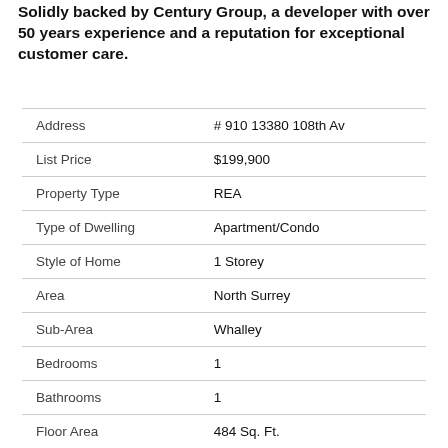Solidly backed by Century Group, a developer with over 50 years experience and a reputation for exceptional customer care.
| Address | # 910 13380 108th Av |
| List Price | $199,900 |
| Property Type | REA |
| Type of Dwelling | Apartment/Condo |
| Style of Home | 1 Storey |
| Area | North Surrey |
| Sub-Area | Whalley |
| Bedrooms | 1 |
| Bathrooms | 1 |
| Floor Area | 484 Sq. Ft. |